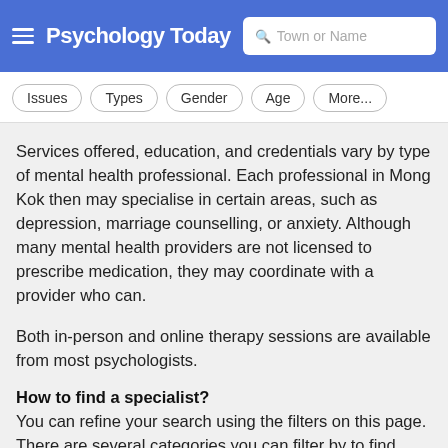Psychology Today — Town or Name search
Issues  Types  Gender  Age  More...
Services offered, education, and credentials vary by type of mental health professional. Each professional in Mong Kok then may specialise in certain areas, such as depression, marriage counselling, or anxiety. Although many mental health providers are not licensed to prescribe medication, they may coordinate with a provider who can.
Both in-person and online therapy sessions are available from most psychologists.
How to find a specialist?
You can refine your search using the filters on this page. There are several categories you can filter by to find mental health professionals with the experience you are looking